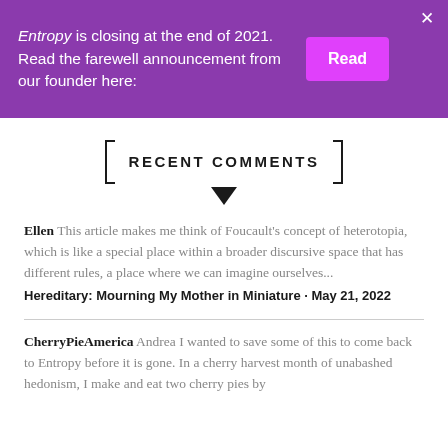Entropy is closing at the end of 2021. Read the farewell announcement from our founder here: [Read]
RECENT COMMENTS
Ellen This article makes me think of Foucault's concept of heterotopia, which is like a special place within a broader discursive space that has different rules, a place where we can imagine ourselves... Hereditary: Mourning My Mother in Miniature · May 21, 2022
CherryPieAmerica Andrea I wanted to save some of this to come back to Entropy before it is gone. In a cherry harvest month of unabashed hedonism, I make and eat two cherry pies by